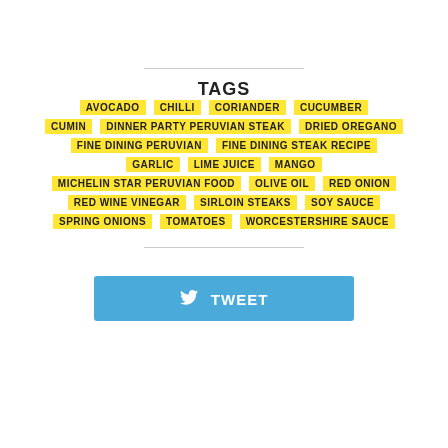TAGS
AVOCADO
CHILLI
CORIANDER
CUCUMBER
CUMIN
DINNER PARTY PERUVIAN STEAK
DRIED OREGANO
FINE DINING PERUVIAN
FINE DINING STEAK RECIPE
GARLIC
LIME JUICE
MANGO
MICHELIN STAR PERUVIAN FOOD
OLIVE OIL
RED ONION
RED WINE VINEGAR
SIRLOIN STEAKS
SOY SAUCE
SPRING ONIONS
TOMATOES
WORCESTERSHIRE SAUCE
TWEET